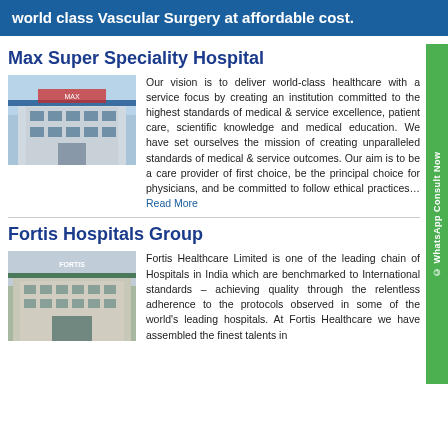world class Vascular Surgery at affordable cost.
Max Super Speciality Hospital
[Figure (photo): Exterior photo of Max Super Speciality Hospital building]
Our vision is to deliver world-class healthcare with a service focus by creating an institution committed to the highest standards of medical & service excellence, patient care, scientific knowledge and medical education. We have set ourselves the mission of creating unparalleled standards of medical & service outcomes. Our aim is to be a care provider of first choice, be the principal choice for physicians, and be committed to follow ethical practices…Read More
Fortis Hospitals Group
[Figure (photo): Exterior photo of Fortis Hospitals Group building]
Fortis Healthcare Limited is one of the leading chain of Hospitals in India which are benchmarked to International standards – achieving quality through the relentless adherence to the protocols observed in some of the world's leading hospitals. At Fortis Healthcare we have assembled the finest talents in